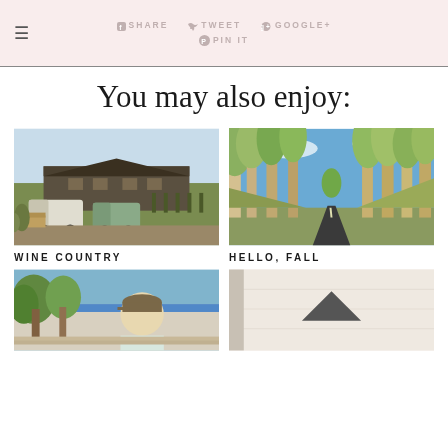SHARE  TWEET  GOOGLE+  PIN IT
You may also enjoy:
[Figure (photo): Winery building with trucks parked outside and vineyard rows in background under blue sky]
WINE COUNTRY
[Figure (photo): Road through tall aspen trees in fall with blue sky]
HELLO, FALL
[Figure (photo): Person wearing a cap outdoors with trees in background]
[Figure (photo): Light colored clothing or fabric close-up with back-to-top arrow button]